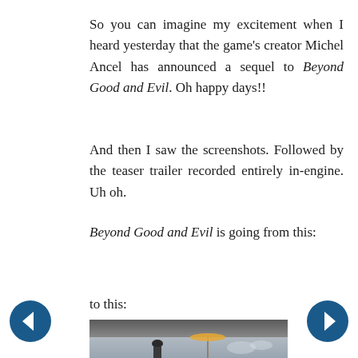So you can imagine my excitement when I heard yesterday that the game's creator Michel Ancel has announced a sequel to Beyond Good and Evil. Oh happy days!!
And then I saw the screenshots. Followed by the teaser trailer recorded entirely in-engine. Uh oh.
Beyond Good and Evil is going from this:
to this:
[Figure (photo): Screenshot from Beyond Good and Evil sequel showing a person under what appears to be an overhead structure, with a parasol/umbrella and sky in the background]